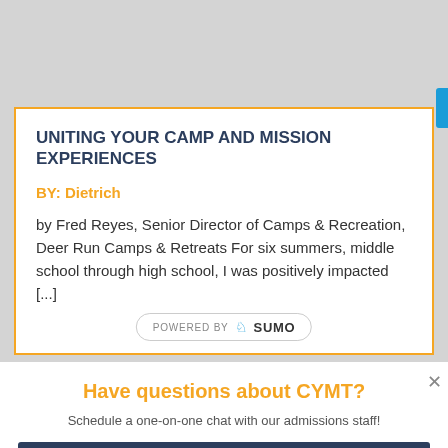UNITING YOUR CAMP AND MISSION EXPERIENCES
BY: Dietrich
by Fred Reyes, Senior Director of Camps & Recreation, Deer Run Camps & Retreats For six summers, middle school through high school, I was positively impacted [...]
POWERED BY SUMO
Have questions about CYMT?
Schedule a one-on-one chat with our admissions staff!
Schedule Now